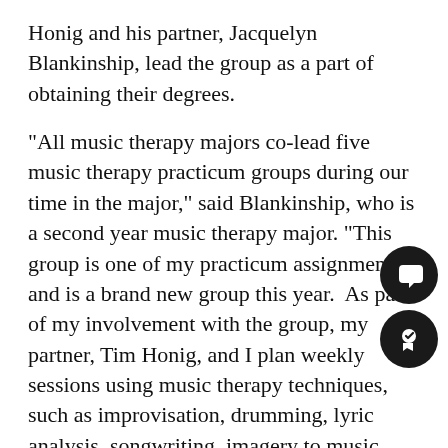Honig and his partner, Jacquelyn Blankinship, lead the group as a part of obtaining their degrees.
“All music therapy majors co-lead five music therapy practicum groups during our time in the major,” said Blankinship, who is a second year music therapy major. “This group is one of my practicum assignments, and is a brand new group this year.  As part of my involvement with the group, my partner, Tim Honig, and I plan weekly sessions using music therapy techniques, such as improvisation, drumming, lyric analysis, songwriting, imagery to music, etc, and implement these sessions each Tuesday.”
Honig and Blankinship’s roles as leaders in the group is to facilitate the music therapy proces…
“In that group, we’re focusing pretty heavily on